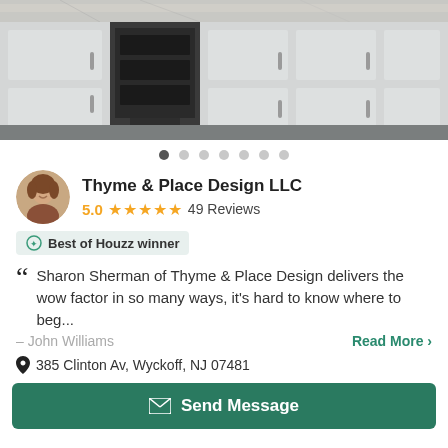[Figure (photo): Hero image of a modern white kitchen with gray cabinets, stainless steel appliances, marble countertop]
● ○ ○ ○ ○ ○ ○ (image carousel dots)
Thyme & Place Design LLC
5.0 ★★★★★ 49 Reviews
Best of Houzz winner
Sharon Sherman of Thyme & Place Design delivers the wow factor in so many ways, it's hard to know where to beg...
– John Williams   Read More >
385 Clinton Av, Wyckoff, NJ 07481
Send Message